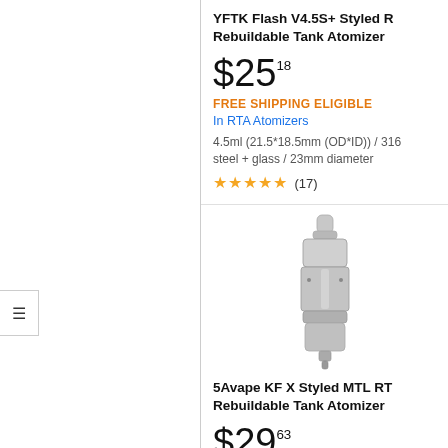YFTK Flash V4.5S+ Styled RTA Rebuildable Tank Atomizer
$25.18
FREE SHIPPING ELIGIBLE
In RTA Atomizers
4.5ml (21.5*18.5mm (OD*ID)) / 316 steel + glass / 23mm diameter
★★★★★ (17)
[Figure (photo): Product photo of a silver/stainless steel RTA atomizer tank (5Avape KF X Styled MTL RTA)]
5Avape KF X Styled MTL RTA Rebuildable Tank Atomizer
$29.63
FREE SHIPPING ELIGIBLE